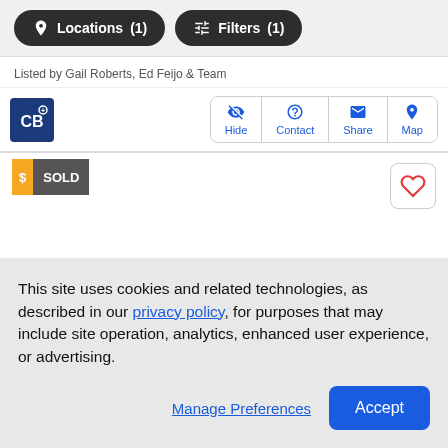[Figure (screenshot): Top navigation bar with two dark rounded buttons: 'Locations (1)' with map pin icon, and 'Filters (1)' with sliders icon]
Listed by Gail Roberts, Ed Feijo & Team
[Figure (logo): Coldwell Banker logo - dark blue square with 'CB' letters]
[Figure (infographic): Action buttons: Hide, Contact, Share, Map]
[Figure (infographic): SOLD badge with orange dollar sign and gray SOLD text, plus heart/favorite button]
This site uses cookies and related technologies, as described in our privacy policy, for purposes that may include site operation, analytics, enhanced user experience, or advertising.
[Figure (infographic): Manage Preferences link and Accept button]